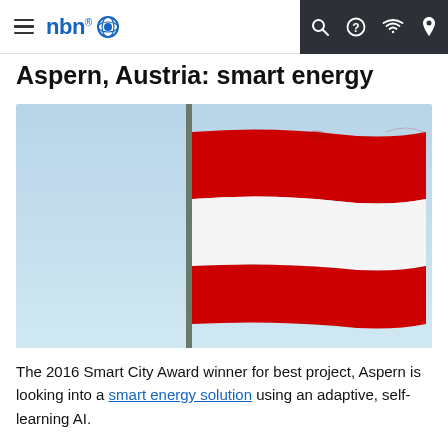nbn — (navigation bar with hamburger menu, search, help, wifi, location icons)
Aspern, Austria: smart energy
[Figure (photo): Austrian flag (red-white-red horizontal stripes) flying on a pole against a light blue sky]
The 2016 Smart City Award winner for best project, Aspern is looking into a smart energy solution using an adaptive, self-learning AI.